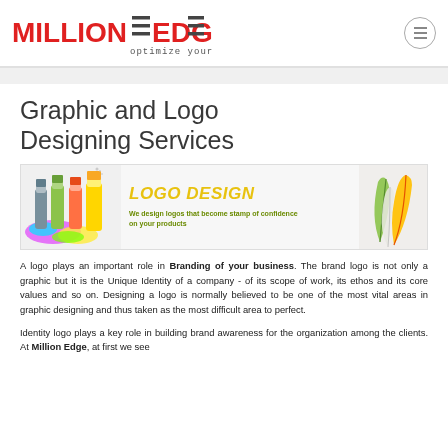MILLION EDGE — optimize your way
Graphic and Logo Designing Services
[Figure (illustration): Logo Design banner with spray paint cans on the left, 'LOGO DESIGN' yellow italic text in center, tagline 'We design logos that become stamp of confidence on your products' in olive green, and colorful feathers on the right]
A logo plays an important role in Branding of your business. The brand logo is not only a graphic but it is the Unique Identity of a company - of its scope of work, its ethos and its core values and so on. Designing a logo is normally believed to be one of the most vital areas in graphic designing and thus taken as the most difficult area to perfect.
Identity logo plays a key role in building brand awareness for the organization among the clients. At Million Edge, at first we see